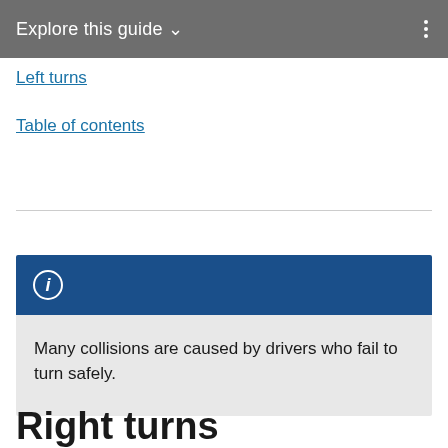Explore this guide ∨
Left turns
Table of contents
Many collisions are caused by drivers who fail to turn safely.
Right turns